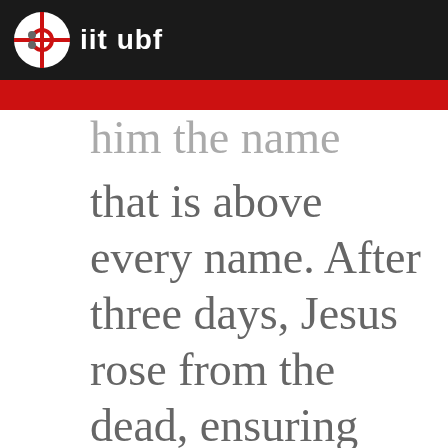iit ubf
him the name that is above every name. After three days, Jesus rose from the dead, ensuring that all the...